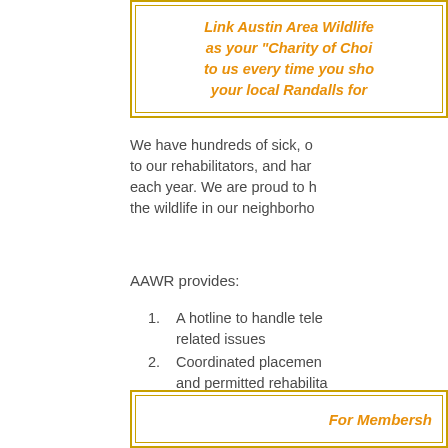Link Austin Area Wildlife as your "Charity of Choice" to us every time you shop at your local Randalls for
We have hundreds of sick, orphaned animals brought to our rehabilitators, and handle thousands of calls each year. We are proud to help people coexist with the wildlife in our neighborhoods.
AAWR provides:
A hotline to handle telephone inquiries about wildlife-related issues
Coordinated placement of wildlife with qualified and permitted rehabilitators until animals are released back into the wild
Veterinary care when needed and when requiring further attention.
For Membership